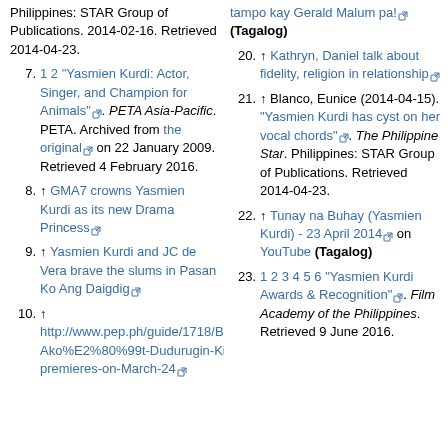Philippines: STAR Group of Publications. 2014-02-16. Retrieved 2014-04-23.
7. 1 2 "Yasmien Kurdi: Actor, Singer, and Champion for Animals". PETA Asia-Pacific. PETA. Archived from the original on 22 January 2009. Retrieved 4 February 2016.
8. ↑ GMA7 crowns Yasmien Kurdi as its new Drama Princess
9. ↑ Yasmien Kurdi and JC de Vera brave the slums in Pasan Ko Ang Daigdig
10. ↑ http://www.pep.ph/guide/1718/Babango Ako%E2%80%99t-Dudurugin-Kita-premieres-on-March-24
20. ↑ Kathryn, Daniel talk about fidelity, religion in relationship
21. ↑ Blanco, Eunice (2014-04-15). "Yasmien Kurdi has cyst on her vocal chords". The Philippine Star. Philippines: STAR Group of Publications. Retrieved 2014-04-23.
22. ↑ Tunay na Buhay (Yasmien Kurdi) - 23 April 2014 on YouTube (Tagalog)
23. 1 2 3 4 5 6 "Yasmien Kurdi Awards & Recognition". Film Academy of the Philippines. Retrieved 9 June 2016.